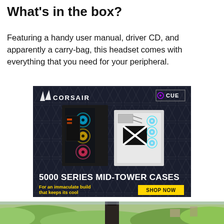What's in the box?
Featuring a handy user manual, driver CD, and apparently a carry-bag, this headset comes with everything that you need for your peripheral.
[Figure (photo): Corsair advertisement banner showing two PC mid-tower cases (one black with RGB fans, one white with RGB fans), Corsair logo, iCUE badge, text '5000 SERIES MID-TOWER CASES', tagline 'For an immaculate build that keeps its cool', and a yellow 'SHOP NOW' button.]
[Figure (photo): Partial photograph at bottom of page showing outdoor scene with greenery and what appears to be a dark tower or pole structure.]